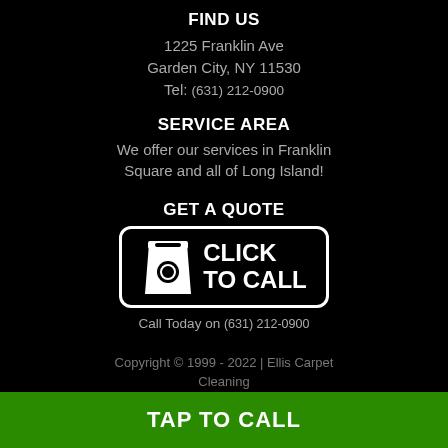FIND US
1225 Franklin Ave
Garden City, NY 11530
Tel: (631) 212-0900
SERVICE AREA
We offer our services in Franklin Square and all of Long Island!
GET A QUOTE
[Figure (other): Click to Call button with telephone icon and text CLICK TO CALL inside a rounded rectangle border]
Call Today on (631) 212-0900
Copyright © 1999 - 2022 | Ellis Carpet Cleaning
TAP TO CALL